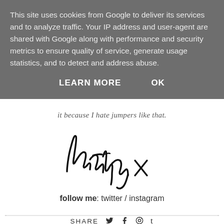This site uses cookies from Google to deliver its services and to analyze traffic. Your IP address and user-agent are shared with Google along with performance and security metrics to ensure quality of service, generate usage statistics, and to detect and address abuse.
LEARN MORE    OK
it because I hate jumpers like that.
[Figure (illustration): Handwritten cursive signature reading 'kirsty x']
follow me: twitter / instagram
SHARE